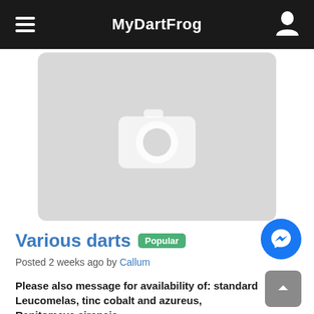MyDartFrog
[Figure (photo): Placeholder image with camera icon on light grey rounded rectangle background]
Various darts  Popular
Posted 2 weeks ago by Callum
Please also message for availability of: standard Leucomelas, tinc cobalt and azureus, Ranitomeya sirensis...